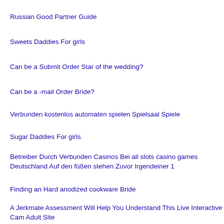Russian Good Partner Guide
Sweets Daddies For girls
Can be a Submit Order Star of the wedding?
Can be a -mail Order Bride?
Verbunden kostenlos automaten spielen Spielsaal Spiele
Sugar Daddies For girls
Betreiber Durch Verbunden Casinos Bei all slots casino games Deutschland Auf den füßen stehen Zuvor Irgendeiner 1
Finding an Hard anodized cookware Bride
A Jerkmate Assessment Will Help You Understand This Live Interactive Cam Adult Site
Newer Women In search of Older Men